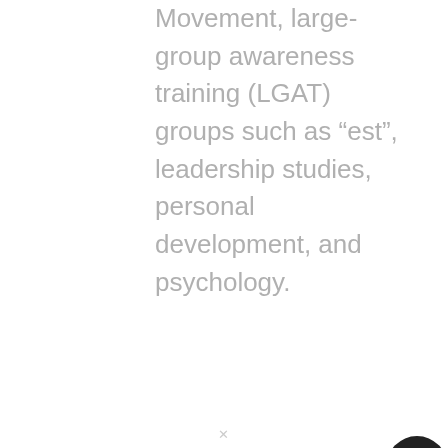Movement, large-group awareness training (LGAT) groups such as “est”, leadership studies, personal development, and psychology.
[Figure (photo): Partial view of a person's head/avatar at the bottom-right corner of the page]